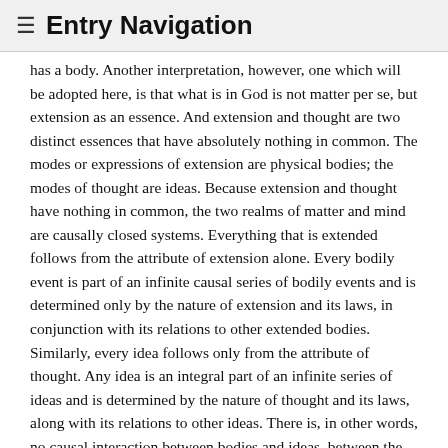≡ Entry Navigation
has a body. Another interpretation, however, one which will be adopted here, is that what is in God is not matter per se, but extension as an essence. And extension and thought are two distinct essences that have absolutely nothing in common. The modes or expressions of extension are physical bodies; the modes of thought are ideas. Because extension and thought have nothing in common, the two realms of matter and mind are causally closed systems. Everything that is extended follows from the attribute of extension alone. Every bodily event is part of an infinite causal series of bodily events and is determined only by the nature of extension and its laws, in conjunction with its relations to other extended bodies. Similarly, every idea follows only from the attribute of thought. Any idea is an integral part of an infinite series of ideas and is determined by the nature of thought and its laws, along with its relations to other ideas. There is, in other words, no causal interaction between bodies and ideas, between the physical and the mental. There is, however, a thoroughgoing correlation and parallelism